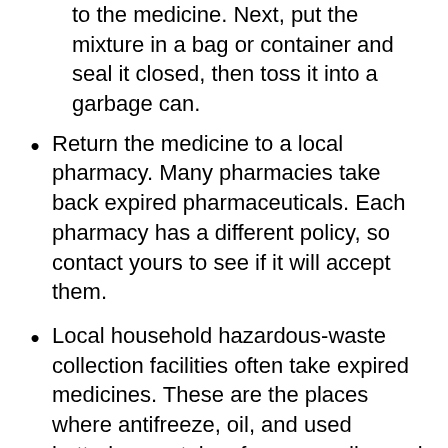to the medicine. Next, put the mixture in a bag or container and seal it closed, then toss it into a garbage can.
Return the medicine to a local pharmacy. Many pharmacies take back expired pharmaceuticals. Each pharmacy has a different policy, so contact yours to see if it will accept them.
Local household hazardous-waste collection facilities often take expired medicines. These are the places where antifreeze, oil, and used batteries are taken for proper disposal. Each facility has a different policy about unused medicine, so call first.
Take special care to dispose of unused pain medicines promptly to prevent the potential for theft/abuse.